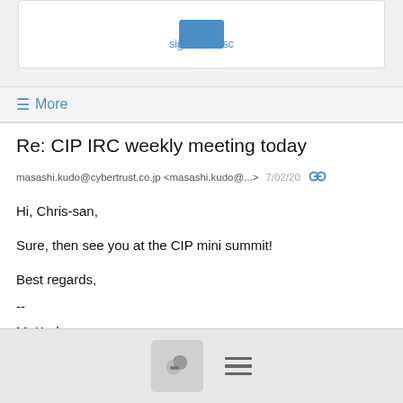[Figure (other): Blue rectangle icon representing signature.asc attachment]
signature.asc
≡ More
Re: CIP IRC weekly meeting today
masashi.kudo@cybertrust.co.jp <masashi.kudo@...>  7/02/20
Hi, Chris-san,

Sure, then see you at the CIP mini summit!

Best regards,
--
M. Kudo
[Figure (illustration): Chat/comments icon button and hamburger menu icon in footer bar]